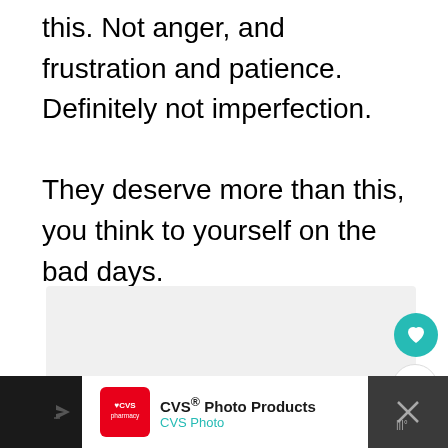this. Not anger, and frustration and patience. Definitely not imperfection.

They deserve more than this, you think to yourself on the bad days.
[Figure (screenshot): UI interaction buttons: heart/like button (teal circle with heart icon), count showing 3, and share button]
[Figure (screenshot): CVS Photo Products advertisement banner at the bottom with CVS pharmacy logo, text 'CVS Photo Products / CVS Photo', a blue navigation arrow icon, and a close/dismiss area on the right]